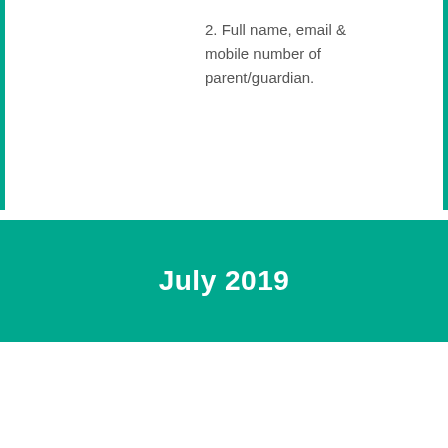2. Full name, email & mobile number of parent/guardian.
July 2019
| Date & Venue | Activities & Booking Details |
| --- | --- |
| 6 July 2019, Saturday
11.00am | Printing Plate Workshop
Be immersed into the magical adventures of our young characters villains and heroes through |